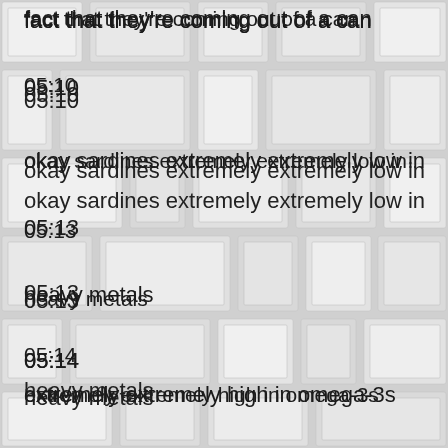fact that they're coming out of a can
05:10
okay sardines extremely extremely low in
05:13
heavy metals
05:14
extremely extremely high in omega-3s
05:17
that you need
05:17
but also very high in selenium which is